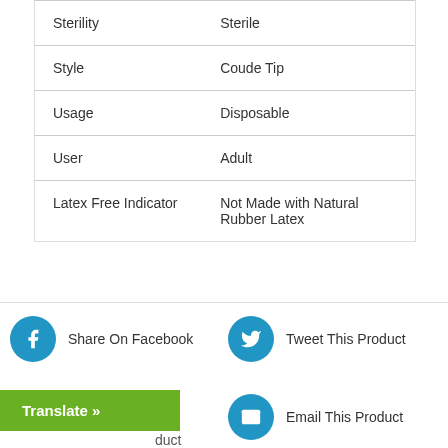| Sterility | Sterile |
| Style | Coude Tip |
| Usage | Disposable |
| User | Adult |
| Latex Free Indicator | Not Made with Natural Rubber Latex |
Share On Facebook
Tweet This Product
Translate »
Email This Product